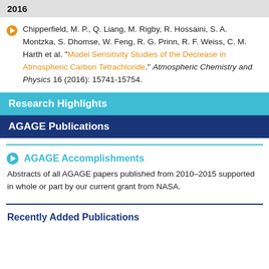2016
Chipperfield, M. P., Q. Liang, M. Rigby, R. Hossaini, S. A. Montzka, S. Dhomse, W. Feng, R. G. Prinn, R. F. Weiss, C. M. Harth et al. "Model Sensitivity Studies of the Decrease in Atmospheric Carbon Tetrachloride." Atmospheric Chemistry and Physics 16 (2016): 15741-15754.
Research Highlights
AGAGE Publications
AGAGE Accomplishments
Abstracts of all AGAGE papers published from 2010–2015 supported in whole or part by our current grant from NASA.
Recently Added Publications